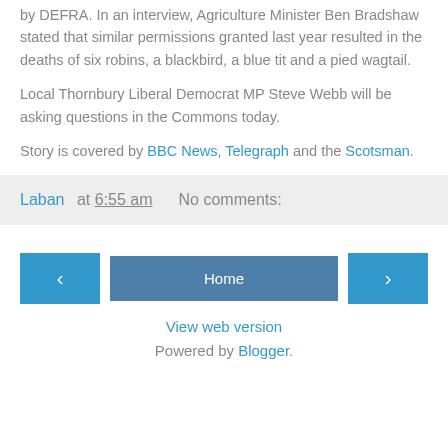by DEFRA. In an interview, Agriculture Minister Ben Bradshaw stated that similar permissions granted last year resulted in the deaths of six robins, a blackbird, a blue tit and a pied wagtail.
Local Thornbury Liberal Democrat MP Steve Webb will be asking questions in the Commons today.
Story is covered by BBC News, Telegraph and the Scotsman.
Laban at 6:55 am   No comments:
Home
View web version
Powered by Blogger.